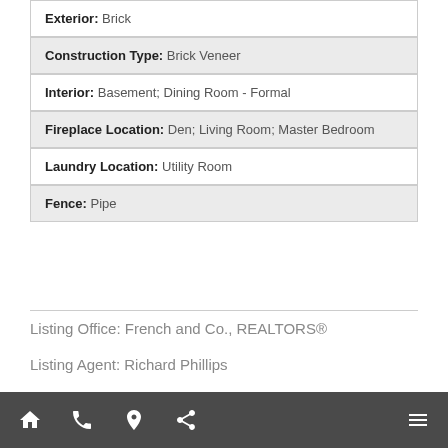| Exterior: | Brick |
| Construction Type: | Brick Veneer |
| Interior: | Basement; Dining Room - Formal |
| Fireplace Location: | Den; Living Room; Master Bedroom |
| Laundry Location: | Utility Room |
| Fence: | Pipe |
Listing Office: French and Co., REALTORS®
Listing Agent: Richard Phillips